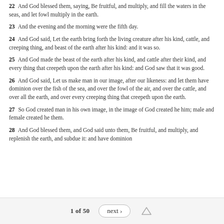22  And God blessed them, saying, Be fruitful, and multiply, and fill the waters in the seas, and let fowl multiply in the earth.
23  And the evening and the morning were the fifth day.
24  And God said, Let the earth bring forth the living creature after his kind, cattle, and creeping thing, and beast of the earth after his kind: and it was so.
25  And God made the beast of the earth after his kind, and cattle after their kind, and every thing that creepeth upon the earth after his kind: and God saw that it was good.
26  And God said, Let us make man in our image, after our likeness: and let them have dominion over the fish of the sea, and over the fowl of the air, and over the cattle, and over all the earth, and over every creeping thing that creepeth upon the earth.
27  So God created man in his own image, in the image of God created he him; male and female created he them.
28  And God blessed them, and God said unto them, Be fruitful, and multiply, and replenish the earth, and subdue it: and have dominion
1 of 50   next ›